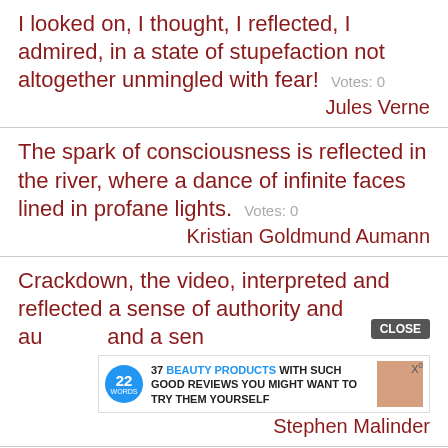I looked on, I thought, I reflected, I admired, in a state of stupefaction not altogether unmingled with fear!  Votes: 0
Jules Verne
The spark of consciousness is reflected in the river, where a dance of infinite faces lined in profane lights.  Votes: 0
Kristian Goldmund Aumann
Crackdown, the video, interpreted and reflected a sense of authority and austerity and a sen  Votes: 0
[Figure (screenshot): Advertisement overlay: 22 WORDS logo with text '37 BEAUTY PRODUCTS WITH SUCH GOOD REVIEWS YOU MIGHT WANT TO TRY THEM YOURSELF', with CLOSE button and X button]
Stephen Malinder
One does have to learn to travel with a degree